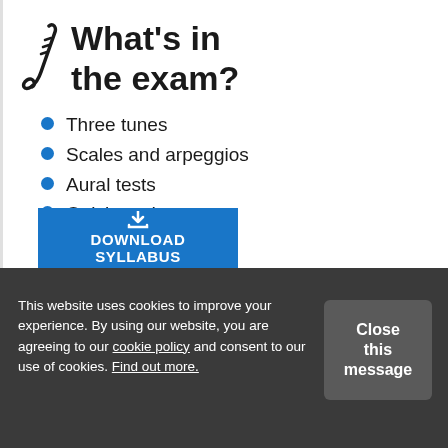What's in the exam?
Three tunes
Scales and arpeggios
Aural tests
Quick study
[Figure (other): Blue download button with download icon and text DOWNLOAD SYLLABUS]
This website uses cookies to improve your experience. By using our website, you are agreeing to our cookie policy and consent to our use of cookies. Find out more.
Close this message